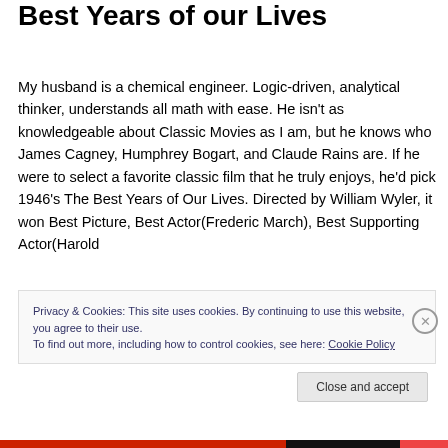My Classic Movie Pick: The Best Years of our Lives
My husband is a chemical engineer.  Logic-driven, analytical thinker, understands all math with ease.  He isn't as knowledgeable about Classic Movies as I am, but he knows who James Cagney, Humphrey Bogart, and Claude Rains are.  If he were to select a favorite classic film that he truly enjoys, he'd pick 1946's The Best Years of Our Lives.  Directed by William Wyler, it won Best Picture, Best Actor(Frederic March), Best Supporting Actor(Harold
Privacy & Cookies: This site uses cookies. By continuing to use this website, you agree to their use.
To find out more, including how to control cookies, see here: Cookie Policy